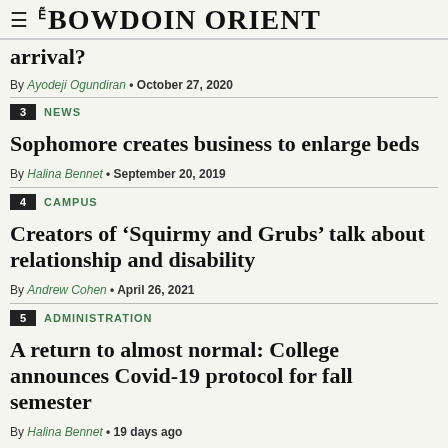THE BOWDOIN ORIENT
arrival?
By Ayodeji Ogundiran • October 27, 2020
3 NEWS
Sophomore creates business to enlarge beds
By Halina Bennet • September 20, 2019
4 CAMPUS
Creators of 'Squirmy and Grubs' talk about relationship and disability
By Andrew Cohen • April 26, 2021
5 ADMINISTRATION
A return to almost normal: College announces Covid-19 protocol for fall semester
By Halina Bennet • 19 days ago